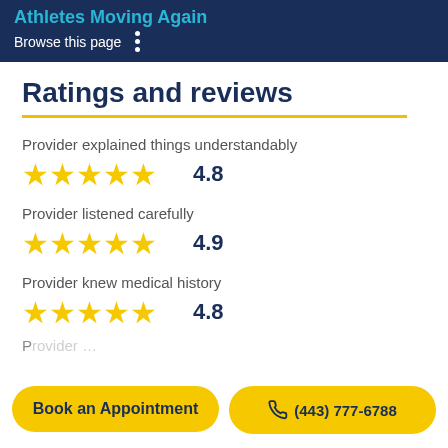Athletes Moving Again
Browse this page
Ratings and reviews
Provider explained things understandably
4.8
Provider listened carefully
4.9
Provider knew medical history
4.8
Book an Appointment
(443) 777-6788